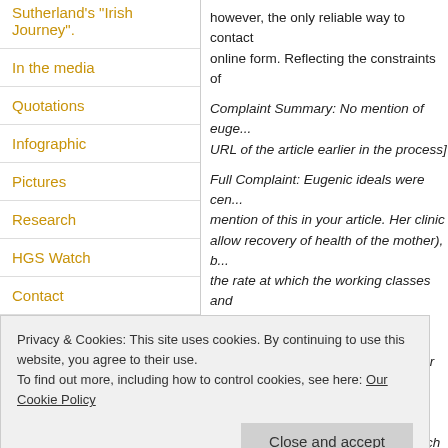Sutherland's "Irish Journey".
In the media
Quotations
Infographic
Pictures
Research
HGS Watch
Contact
however, the only reliable way to contact online form. Reflecting the constraints of
Complaint Summary: No mention of euge... URL of the article earlier in the process]
Full Complaint: Eugenic ideals were cen... mention of this in your article. Her clinic allow recovery of health of the mother), b... the rate at which the working classes and sterilization of "the degenerate [and] the "Radiant Motherhood" and also in her su... (1918-1920). Halliday Sutherland's oppo... to prevent and cure tuberculosis which w...
Privacy & Cookies: This site uses cookies. By continuing to use this website, you agree to their use.
To find out more, including how to control cookies, see here: Our Cookie Policy
Close and accept